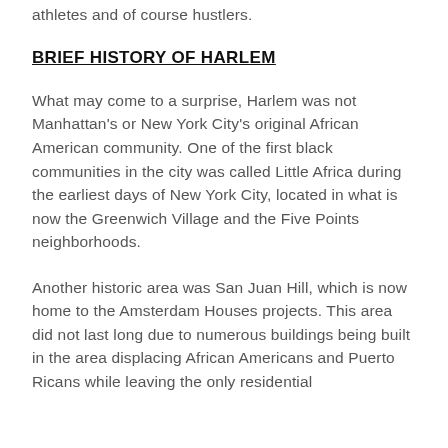athletes and of course hustlers.
BRIEF HISTORY OF HARLEM
What may come to a surprise, Harlem was not Manhattan’s or New York City’s original African American community.  One of the first black communities in the city was called Little Africa during the earliest days of New York City, located in what is now the Greenwich Village and the Five Points neighborhoods.
Another historic area was San Juan Hill, which is now home to the Amsterdam Houses projects. This area did not last long due to numerous buildings being built in the area displacing African Americans and Puerto Ricans while leaving the only residential